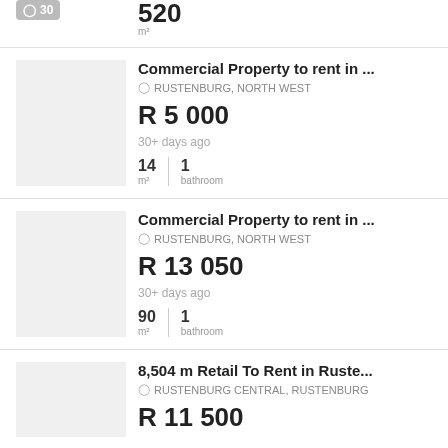30 | 520 m²
Commercial Property to rent in ...
RUSTENBURG, NORTH WEST
R 5 000
30+ days ago
14 m² | 1 bathroom
Commercial Property to rent in ...
RUSTENBURG, NORTH WEST
R 13 050
30+ days ago
90 m² | 1 bathroom
8,504 m Retail To Rent in Ruste...
RUSTENBURG CENTRAL, RUSTENBURG
R 11 500